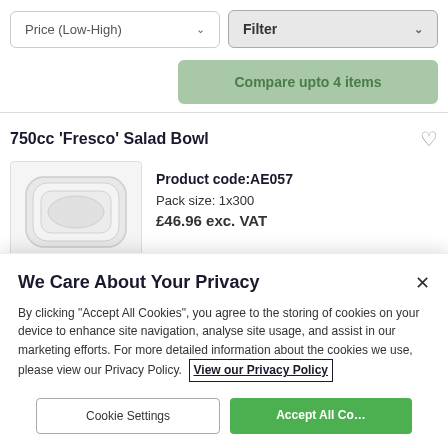Price (Low-High)
Filter
Compare upto 4 items
750cc ‘Fresco’ Salad Bowl
[Figure (photo): Product image of a 750cc Fresco Salad Bowl - a clear plastic container with lid, viewed from above, shown in light grey tones]
Product code:AE057
Pack size: 1x300
£46.96 exc. VAT
We Care About Your Privacy
By clicking “Accept All Cookies”, you agree to the storing of cookies on your device to enhance site navigation, analyse site usage, and assist in our marketing efforts. For more detailed information about the cookies we use, please view our Privacy Policy. View our Privacy Policy